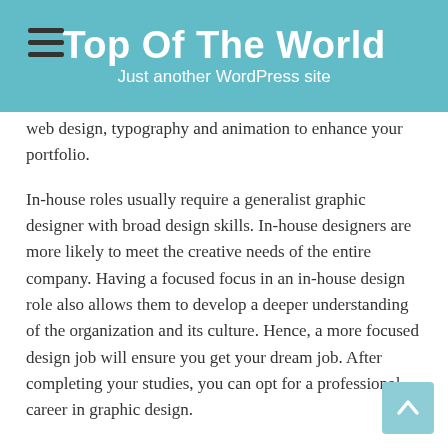Top Of The World
Just another WordPress site
web design, typography and animation to enhance your portfolio.
In-house roles usually require a generalist graphic designer with broad design skills. In-house designers are more likely to meet the creative needs of the entire company. Having a focused focus in an in-house design role also allows them to develop a deeper understanding of the organization and its culture. Hence, a more focused design job will ensure you get your dream job. After completing your studies, you can opt for a professional career in graphic design.
While you may think that graphic design is only an aesthetic skill, it is important to keep in mind that it is an essential tool for promoting your business. Besides expanding your brand's reach and earning more profits, it